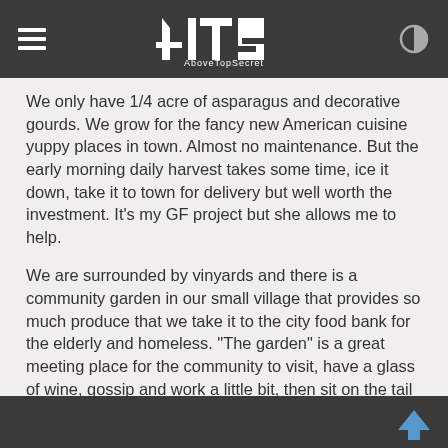ATS AboveTopSecret
We only have 1/4 acre of asparagus and decorative gourds. We grow for the fancy new American cuisine yuppy places in town. Almost no maintenance. But the early morning daily harvest takes some time, ice it down, take it to town for delivery but well worth the investment. It's my GF project but she allows me to help.
We are surrounded by vinyards and there is a community garden in our small village that provides so much produce that we take it to the city food bank for the elderly and homeless. "The garden" is a great meeting place for the community to visit, have a glass of wine, gossip and work a little bit, then sit on the tail gate of the pickup and enjoy the spectacular sunsets.
It's easy livin in the Land of Enchantment.
edit on 30-3-2018 by olaru12 because: (no reason given)